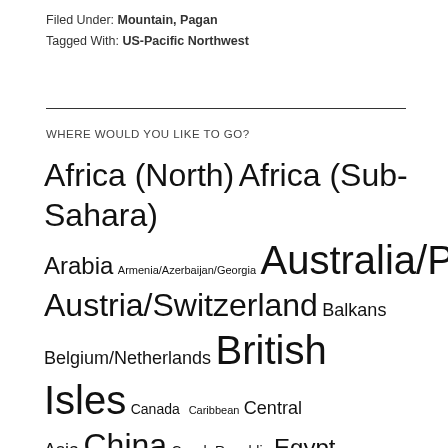Filed Under: Mountain, Pagan
Tagged With: US-Pacific Northwest
WHERE WOULD YOU LIKE TO GO?
Africa (North) Africa (Sub-Sahara) Arabia Armenia/Azerbaijan/Georgia Australia/Pacific Austria/Switzerland Balkans Belgium/Netherlands British Isles Canada Caribbean Central Asia China Czech Republic Egypt France Germany Greece Hungary/Romania/Bulgaria India (NE)/Nepal